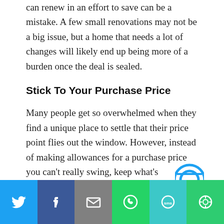can renew in an effort to save can be a mistake. A few small renovations may not be a big issue, but a home that needs a lot of changes will likely end up being more of a burden once the deal is sealed.
Stick To Your Purchase Price
Many people get so overwhelmed when they find a unique place to settle that their price point flies out the window. However, instead of making allowances for a purchase price you can't really swing, keep what's affordable in mind and be sure you don't veer too far above it.
[Figure (infographic): Social sharing bar with buttons for Twitter, Facebook, Email, WhatsApp, SMS, and More]